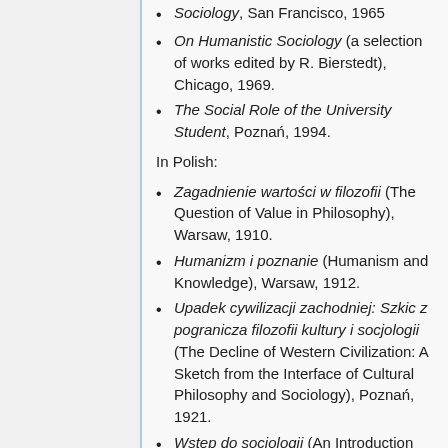Sociology, San Francisco, 1965
On Humanistic Sociology (a selection of works edited by R. Bierstedt), Chicago, 1969.
The Social Role of the University Student, Poznań, 1994.
In Polish:
Zagadnienie wartości w filozofii (The Question of Value in Philosophy), Warsaw, 1910.
Humanizm i poznanie (Humanism and Knowledge), Warsaw, 1912.
Upadek cywilizacji zachodniej: Szkic z pogranicza filozofii kultury i socjologii (The Decline of Western Civilization: A Sketch from the Interface of Cultural Philosophy and Sociology), Poznań, 1921.
Wstęp do socjologii (An Introduction